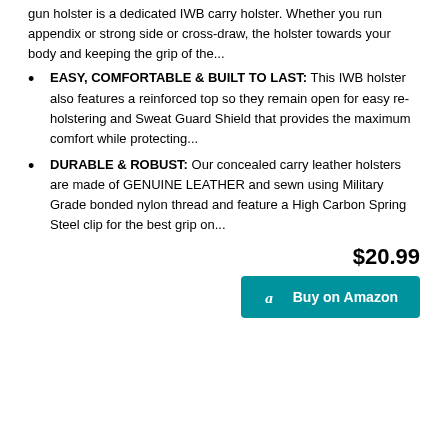gun holster is a dedicated IWB carry holster. Whether you run appendix or strong side or cross-draw, the holster towards your body and keeping the grip of the...
EASY, COMFORTABLE & BUILT TO LAST: This IWB holster also features a reinforced top so they remain open for easy re-holstering and Sweat Guard Shield that provides the maximum comfort while protecting...
DURABLE & ROBUST: Our concealed carry leather holsters are made of GENUINE LEATHER and sewn using Military Grade bonded nylon thread and feature a High Carbon Spring Steel clip for the best grip on...
$20.99
Buy on Amazon